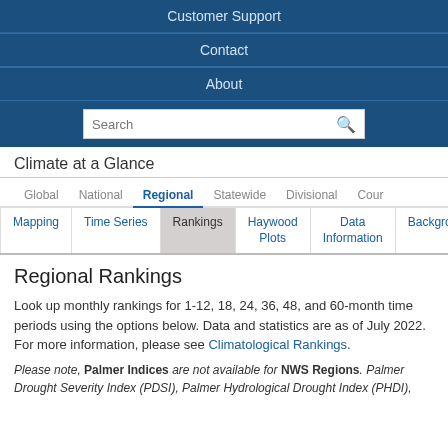Customer Support
Contact
About
Climate at a Glance
Regional Rankings
Look up monthly rankings for 1-12, 18, 24, 36, 48, and 60-month time periods using the options below. Data and statistics are as of July 2022. For more information, please see Climatological Rankings.
Please note, Palmer Indices are not available for NWS Regions. Palmer Drought Severity Index (PDSI), Palmer Hydrological Drought Index (PHDI),